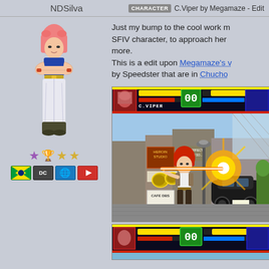NDSilva | C.Viper by Megamaze - Edit
[Figure (illustration): Pixel art sprite of a pink-haired female fighting game character in white pants and dark top, arms crossed]
★🏆★★ (rating stars and trophy icons)
[Figure (infographic): Row of icon badges: Brazilian flag, DC logo, globe, YouTube logo]
Just my bump to the cool work m... SFIV character, to approach her more. This is a edit upon Megamaze's v... by Speedster that are in Chucho...
[Figure (screenshot): Fighting game screenshot showing C.Viper character firing energy blast in a London street stage, with HUD bars at top showing health and timer reading 00]
[Figure (screenshot): Partial second screenshot of the same fighting game showing HUD at top]